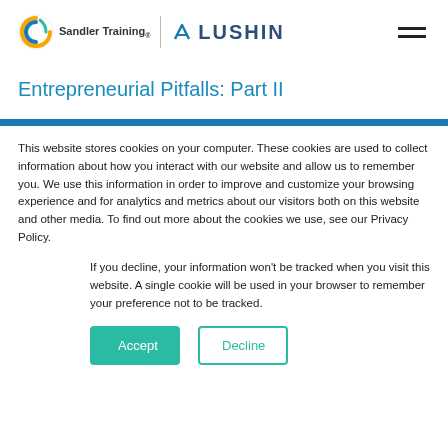Sandler Training | LUSHIN
Entrepreneurial Pitfalls: Part II
This website stores cookies on your computer. These cookies are used to collect information about how you interact with our website and allow us to remember you. We use this information in order to improve and customize your browsing experience and for analytics and metrics about our visitors both on this website and other media. To find out more about the cookies we use, see our Privacy Policy.
If you decline, your information won't be tracked when you visit this website. A single cookie will be used in your browser to remember your preference not to be tracked.
Accept  Decline